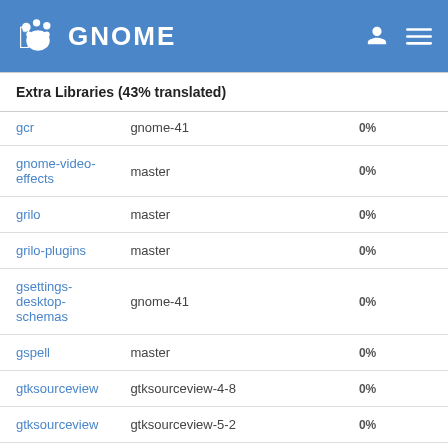GNOME
Extra Libraries (43% translated)
| Name | Branch | Percent | Count |
| --- | --- | --- | --- |
| gcr | gnome-41 | 0% |  |
| gnome-video-effects | master | 0% |  |
| grilo | master | 0% |  |
| grilo-plugins | master | 0% |  |
| gsettings-desktop-schemas | gnome-41 | 0% |  |
| gspell | master | 0% |  |
| gtksourceview | gtksourceview-4-8 | 0% |  |
| gtksourceview | gtksourceview-5-2 | 0% |  |
| json-glib | master | 19% | 9 |
| libgdata | main | 0% |  |